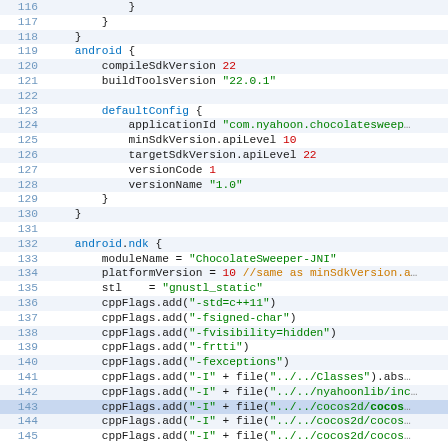[Figure (screenshot): Android/Gradle build script code snippet showing lines 116-145 with syntax highlighting. Lines include android block configuration, compileSdkVersion, buildToolsVersion, defaultConfig, applicationId, minSdkVersion, targetSdkVersion, versionCode, versionName, android.ndk block with moduleName, platformVersion, stl, and multiple cppFlags.add() calls.]